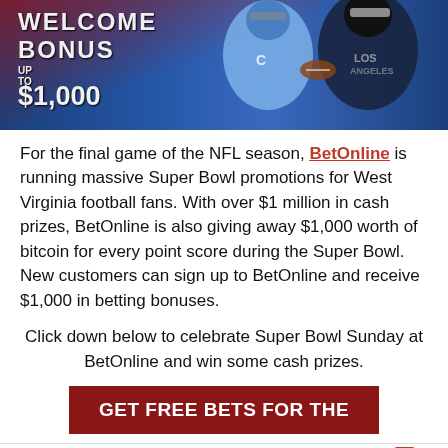[Figure (photo): Sports betting welcome bonus banner with NFL players and text: WELCOME BONUS UP TO $1,000]
For the final game of the NFL season, BetOnline is running massive Super Bowl promotions for West Virginia football fans. With over $1 million in cash prizes, BetOnline is also giving away $1,000 worth of bitcoin for every point score during the Super Bowl. New customers can sign up to BetOnline and receive $1,000 in betting bonuses.
Click down below to celebrate Super Bowl Sunday at BetOnline and win some cash prizes.
GET FREE BETS FOR THE
[Figure (infographic): Bottom navigation bar with icons: NBA Live Betting (basketball icon), Promo Codes (dollar circle icon), Betting Apps (rocket icon), New Casinos (dice icon with 20+ badge)]